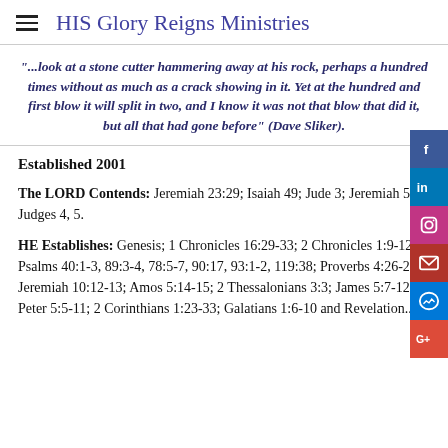HIS Glory Reigns Ministries
"...look at a stone cutter hammering away at his rock, perhaps a hundred times without as much as a crack showing in it. Yet at the hundred and first blow it will split in two, and I know it was not that blow that did it, but all that had gone before" (Dave Sliker).
Established 2001
The LORD Contends: Jeremiah 23:29; Isaiah 49; Jude 3; Jeremiah 50; Judges 4, 5.
HE Establishes: Genesis; 1 Chronicles 16:29-33; 2 Chronicles 1:9-12; Psalms 40:1-3, 89:3-4, 78:5-7, 90:17, 93:1-2, 119:38; Proverbs 4:26-27; Jeremiah 10:12-13; Amos 5:14-15; 2 Thessalonians 3:3; James 5:7-12; 1 Peter 5:5-11; 2 Corinthians 1:23-33; Galatians 1:6-10 and Revelation...